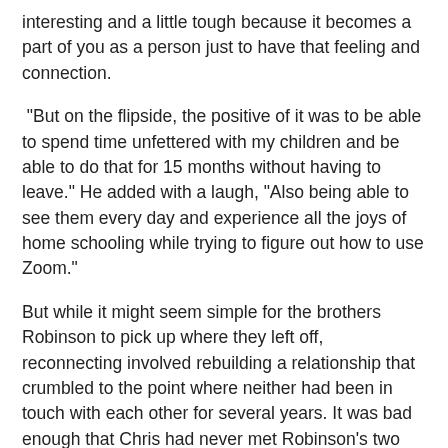interesting and a little tough because it becomes a part of you as a person just to have that feeling and connection.
“But on the flipside, the positive of it was to be able to spend time unfettered with my children and be able to do that for 15 months without having to leave.” He added with a laugh, “Also being able to see them every day and experience all the joys of home schooling while trying to figure out how to use Zoom.”
But while it might seem simple for the brothers Robinson to pick up where they left off, reconnecting involved rebuilding a relationship that crumbled to the point where neither had been in touch with each other for several years. It was bad enough that Chris had never met Robinson’s two youngest children and Rich had been just as disconnected from nephew Ryder and niece Cheyenne.